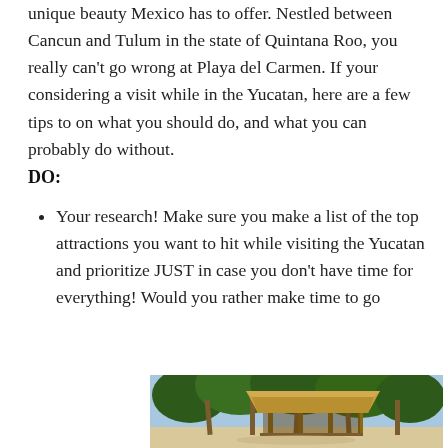unique beauty Mexico has to offer. Nestled between Cancun and Tulum in the state of Quintana Roo, you really can't go wrong at Playa del Carmen. If your considering a visit while in the Yucatan, here are a few tips to on what you should do, and what you can probably do without.
DO:
Your research! Make sure you make a list of the top attractions you want to hit while visiting the Yucatan and prioritize JUST in case you don't have time for everything! Would you rather make time to go
[Figure (photo): A beach hut with a thatched roof supported by wooden posts on a sandy beach, surrounded by tall palm trees under a blue sky.]